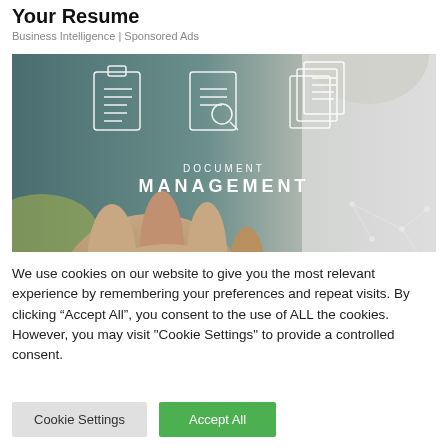Your Resume
Business Intelligence | Sponsored Ads
[Figure (photo): A hand pointing at glowing document management icons on a digital interface, with text reading DOCUMENT MANAGEMENT in white letters.]
We use cookies on our website to give you the most relevant experience by remembering your preferences and repeat visits. By clicking “Accept All”, you consent to the use of ALL the cookies. However, you may visit "Cookie Settings" to provide a controlled consent.
Cookie Settings
Accept All